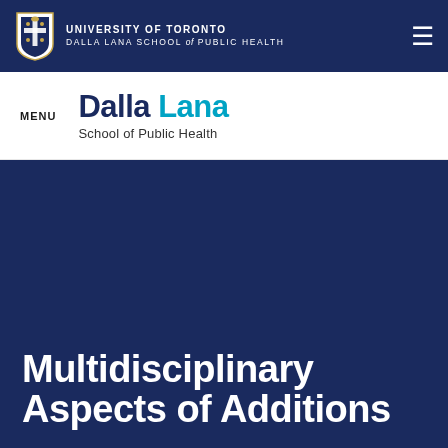UNIVERSITY OF TORONTO DALLA LANA SCHOOL OF PUBLIC HEALTH
[Figure (logo): University of Toronto Dalla Lana School of Public Health logo with crest and text: Dalla Lana School of Public Health]
Multidisciplinary Aspects of Addictions